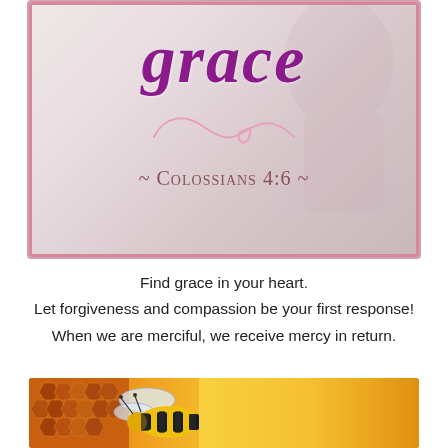[Figure (illustration): Decorative image with the word 'grace' in large purple cursive script, a pink decorative swirl beneath it, and '~ COLOSSIANS 4:6 ~' in mauve serif text. Light grey/pink gradient background with a faint figure in background. Pink border frame.]
Find grace in your heart.
Let forgiveness and compassion be your first response!
When we are merciful, we receive mercy in return.
[Figure (photo): Close-up photo of a bee on a bright yellow sunflower, with honeycomb texture visible on the left side. Warm golden and orange tones.]